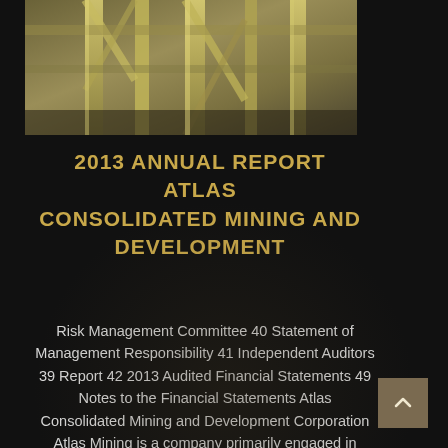[Figure (photo): Industrial mining facility interior showing structural beams and equipment, photographed from below looking up at yellow/beige metal framework]
2013 ANNUAL REPORT ATLAS CONSOLIDATED MINING AND DEVELOPMENT
Risk Management Committee 40 Statement of Management Responsibility 41 Independent Auditors 39 Report 42 2013 Audited Financial Statements 49 Notes to the Financial Statements Atlas Consolidated Mining and Development Corporation Atlas Mining is a company primarily engaged in metallic mineral